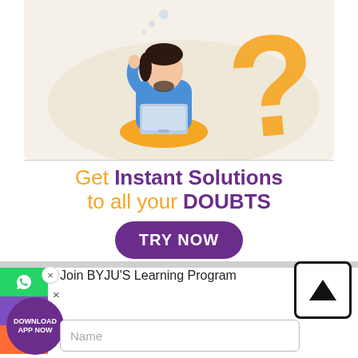[Figure (illustration): Person sitting cross-legged with laptop, thinking, with a large yellow question mark behind them on a beige background.]
Get Instant Solutions to all your DOUBTS
[Figure (other): Purple rounded button with white text 'TRY NOW']
[Figure (other): Left side social media/contact icons: WhatsApp (green), Share (purple), Phone (orange). Purple download badge with X close buttons.]
[Figure (other): Black bordered square button with white upward arrow (scroll to top)]
Join BYJU'S Learning Program
Name